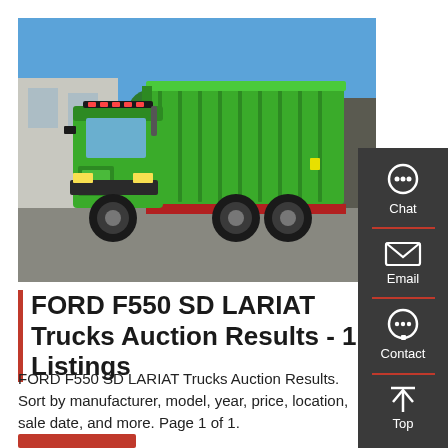[Figure (photo): Green Sinotruk HOWO dump truck parked outdoors on pavement, with a large green tipper body and red accents, industrial building and trees in background, blue sky.]
FORD F550 SD LARIAT Trucks Auction Results - 1 Listings
FORD F550 SD LARIAT Trucks Auction Results. Sort by manufacturer, model, year, price, location, sale date, and more. Page 1 of 1.